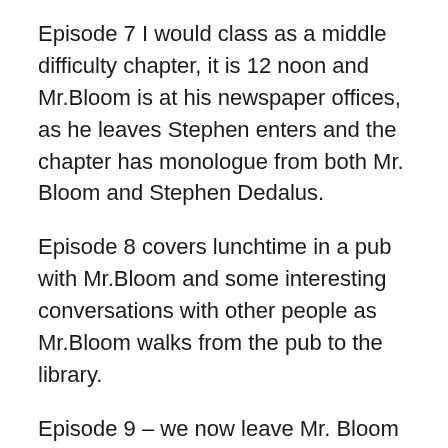Episode 7 I would class as a middle difficulty chapter, it is 12 noon and Mr.Bloom is at his newspaper offices, as he leaves Stephen enters and the chapter has monologue from both Mr. Bloom and Stephen Dedalus.
Episode 8 covers lunchtime in a pub with Mr.Bloom and some interesting conversations with other people as Mr.Bloom walks from the pub to the library.
Episode 9 – we now leave Mr. Bloom and return to Stephen Dedalus in the library with his friends discussing Hamlet.  This is a long and complicated discussion made even harder to understand if you have never read Hamlet.
Episode 10 is completely different in form and content and neither of the two main character's play much of a role in this chapter. It is separated into 19 mini-chapters and is